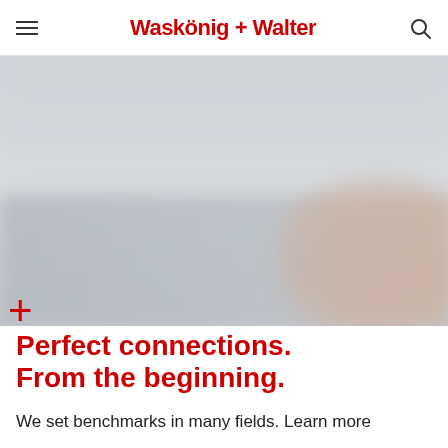Waskönig + Walter
[Figure (photo): Blurred atmospheric landscape photo with muted grays and soft warm tones on the right side, used as a hero banner image]
Perfect connections.
From the beginning.
We set benchmarks in many fields. Learn more